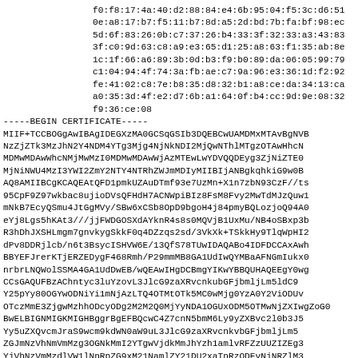f0:f8:17:4a:40:d2:88:84:e4:6b:95:04:f5:3c:d6:51
0e:a8:17:b7:f5:11:b7:8d:a5:2d:bd:7b:fa:bf:98:ec
5d:6f:83:26:0b:c7:37:26:b4:33:3f:32:33:a3:43:83
3f:c0:9d:63:c8:a9:e3:65:d1:25:a8:63:f1:35:ab:8e
1c:1f:66:a6:89:3b:0d:b3:f9:b0:89:da:06:05:99:79
c1:04:94:4f:74:3a:fb:ae:c7:9a:96:e3:36:1d:f2:92
fe:41:02:c8:7e:b8:35:d8:32:b1:a8:ce:da:34:13:ca
a0:35:3d:4f:e2:d7:6b:a1:64:0f:b4:cc:9d:9e:08:32
f9:36:ce:08
-----BEGIN CERTIFICATE-----
MIIF+TCCBOGgAwIBAgIDEGXzMA0GCSqGSIb3DQEBCwUAMDMxMTAvBgNVB
NzZjZTk3MzJhN2Y4NDM4YTg3Mjg4NjNkNDI2MjQwNThlMTgzOTAwHhcN
MDMwMDAwWhcNMjMwMzI0MDMwMDAwWjAzMTEwLwYDVQQDEyg3ZjNiZTE0
MjNiNWU4MzI3YWI2ZmY2NTY4NTRhZWJmMDIyMIIBIjANBgkqhkiG9w0B
AQ8AMIIBCgKCAQEAtQFD1pmkUZAuDTmf93e7UzMn+X1n7zbN93CzF//ts
95CpF9Z97wkbac8ujioDVsQFHdH7ACNWpiBIz8FsM8Fvy2MwTdMJzQuw1
mNkB7EcyQSmu4JtGgMVy/SBw6xCSb8OpD9bgoH4j84pmyBQLozjoQ94A0
eYj8Lgs5hKAt3///jjFWDGOSXdAYknR4s8s0MQVjB1UxMu/NB4oSBxp3b
R3hDhJXSHLmgm7gnvkygSkkF0q4DZzqs2sd/3VkXk+TSkkHy9TlqWpHI2
dPv8DDRjlcb/n6t3BsycISHVW6E/13QfS78TUwIDAQABo4IDFDCCAxAwh
BBYEFJrerKTjERZEDygF468Rmh/P29mmMB8GA1UdIwQYMBaAFNGmIukx0
nrbrLNQWolSSMA4GA1UdDwEB/wQEAwIHgDCBmgYIKwYBBQUHAQEEgY0wg
CCsGAQUFBzAChntych3luYzovL3JlcG9zaXRvcnkubGFjbmljLm5ldC9
Y25pYy80OGYwODNiYi1mNjAzLTQ4OTMtOTk5MC0wMjg0YzA0Y2ViODUv
OTczMmE3ZjgwMzhhODcyODg2M2M2Q0MjYyNDA1OGUxODM5OTMwNjZXIwgZoG0
BwELBIGNMIGKMIGHBggrBgEFBQcwC4Z7cnN5bmM6Ly9yZXBvc2l0b3J5
Yy5uZXQvcmJraS9wcm9kdWN0aW9uL3JlcG9zaXRvcnkvbGFjbmljLm5
ZGJmNzVhNmVmMzg3OGNkMmI2YTgwVjdkMmJhYzh1amlvRFZzUUZIZEg3
YjVhNzVmMzdlVW1lNnRpZG9xM21NamlZY21DU2xaTnRzODEvNjNRZlM3
cm9hMIGPBgNVHR8EgYcwgYQgYQwgYggf6B9hntyc3luYzovL3JlcG9zaXRvcnku
bmljLm5ldC9yYmtpL3Byb2R1Y3Rpb24vcmVwb3NpdG9yeS9sYWNuaWMu
bmxiTm51dGluZzoxX1ZhTlpVdXIyY2hwMjVZeTk5aU4yVXlZMlJpWTAwWlRFbExUQQNTFtYmFF